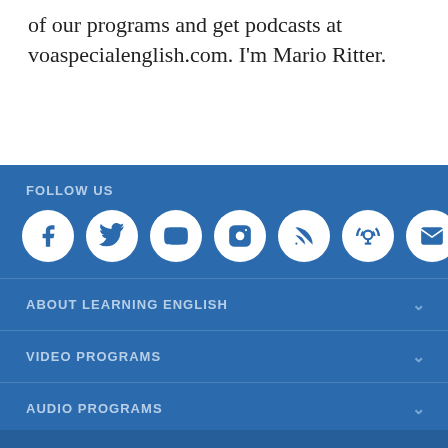of our programs and get podcasts at voaspecialenglish.com. I'm Mario Ritter.
FOLLOW US
[Figure (infographic): Row of 7 social media icon circles (Facebook, Twitter, YouTube, Instagram, RSS, Podcast, Email) on blue background]
ABOUT LEARNING ENGLISH
VIDEO PROGRAMS
AUDIO PROGRAMS